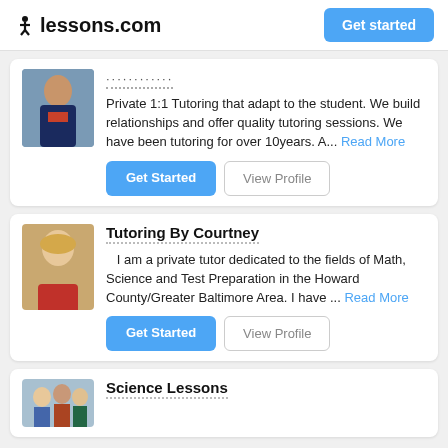lessons.com — Get started
Private 1:1 Tutoring that adapt to the student. We build relationships and offer quality tutoring sessions. We have been tutoring for over 10years. A... Read More
Get Started | View Profile
Tutoring By Courtney
I am a private tutor dedicated to the fields of Math, Science and Test Preparation in the Howard County/Greater Baltimore Area. I have ... Read More
Get Started | View Profile
Science Lessons